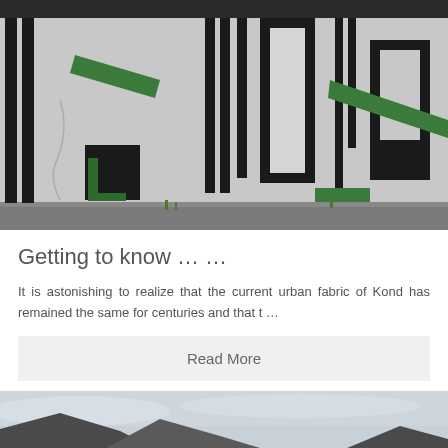[Figure (photo): Photograph of a white wall with an abstract mural painted in black and green geometric shapes — vertical lines, rectangles, and diagonal green brush strokes.]
Getting to know … …
It is astonishing to realize that the current urban fabric of Kond has remained the same for centuries and that t …
Read More
[Figure (photo): Bottom portion of a photograph showing mountain silhouettes against a cloudy sky.]